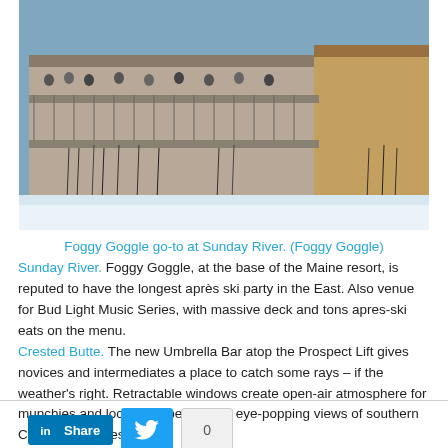[Figure (photo): Exterior photo of the Foggy Goggle lodge at Sunday River ski resort, showing a large building with decks filled with people, ski equipment leaning against railings, and snow in the foreground.]
Foggy Goggle go-to at Sunday River. (Foggy Goggle)
Sunday River. Foggy Goggle, at the base of the Maine resort, is reputed to have the longest après ski party in the East. Also venue for Bud Light Music Series, with massive deck and tons apres-ski eats on the menu. Crested Butte. The new Umbrella Bar atop the Prospect Lift gives novices and intermediates a place to catch some rays – if the weather's right. Retractable windows create open-air atmosphere for munchies and local craft beer – and eye-popping views of southern Colorado Rockies.